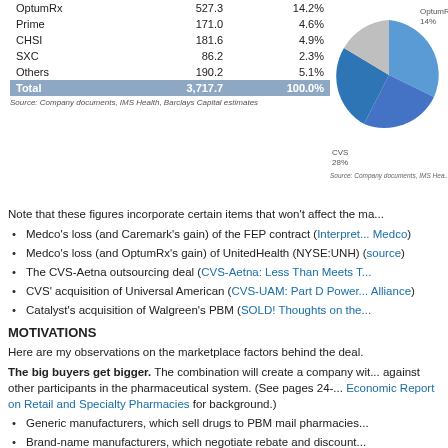|  |  |  |
| --- | --- | --- |
| OptumRx | 527.3 | 14.2% |
| Prime | 171.0 | 4.6% |
| CHSI | 181.6 | 4.9% |
| SXC | 86.2 | 2.3% |
| Others | 190.2 | 5.1% |
| Total | 3,717.7 | 100.0% |
[Figure (pie-chart): Pie chart showing market share. CVS 28%, OptumRx 14%, and other segments.]
Source: Company documents, IMS Health, Barclays Capital estimates
Note that these figures incorporate certain items that won't affect the ma...
Medco's loss (and Caremark's gain) of the FEP contract (Interpret... Medco)
Medco's loss (and OptumRx's gain) of UnitedHealth (NYSE:UNH) (source)
The CVS-Aetna outsourcing deal (CVS-Aetna: Less Than Meets T...
CVS' acquisition of Universal American (CVS-UAM: Part D Power... Alliance)
Catalyst's acquisition of Walgreen's PBM (SOLD! Thoughts on the...
MOTIVATIONS
Here are my observations on the marketplace factors behind the deal.
The big buyers get bigger. The combination will create a company wit... against other participants in the pharmaceutical system. (See pages 24-... Economic Report on Retail and Specialty Pharmacies for background.)
Generic manufacturers, which sell drugs to PBM mail pharmacies...
Brand-name manufacturers, which negotiate rebate and discount...